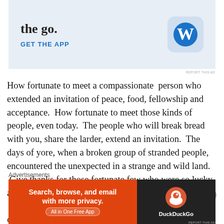[Figure (screenshot): WordPress 'GET THE APP' advertisement banner with light blue background, bold text 'the go.' at top, 'GET THE APP' link in blue, and WordPress 'W' logo icon on the right.]
REPORT THIS AD
How fortunate to meet a compassionate  person who extended an invitation of peace, food, fellowship and acceptance.  How fortunate to meet those kinds of people, even today.  The people who will break bread with you, share the larder, extend an invitation.  The days of yore, when a broken group of stranded people, encountered the unexpected in a strange and wild land.  Give thanks for those fortunate few who were so lucky as to be included.  Feast and be merry, joy to us all.  This celebration of food is the making of a great nation, of great friendships.  It is t
Advertisements
[Figure (screenshot): DuckDuckGo advertisement banner: orange left panel with 'Search, browse, and email with more privacy. All in One Free App', and dark right panel with DuckDuckGo logo and name.]